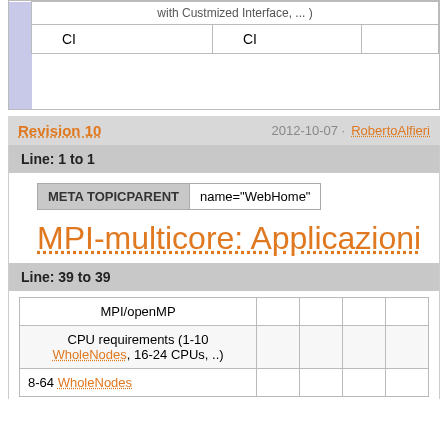| CI | CI |  |  |
| --- | --- | --- | --- |
| CI | CI |  |  |
Revision 10   2012-10-07 · RobertoAlfieri
Line: 1 to 1
META TOPICPARENT  name="WebHome"
MPI-multicore: Applicazioni
Line: 39 to 39
| MPI/openMP |  |  |  |  |
| --- | --- | --- | --- | --- |
| CPU requirements (1-10 WholeNodes, 16-24 CPUs, ..) |  |  |  |  |
| 8-64 WholeNodes |  |  |  |  |